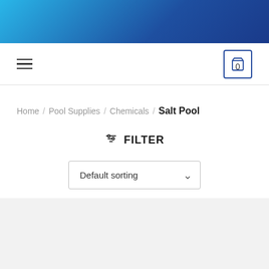[Figure (other): Gradient header bar transitioning from cyan/light blue on the left to dark navy blue on the right]
Navigation bar with hamburger menu on the left and shopping cart icon showing 0 on the right
Home / Pool Supplies / Chemicals / Salt Pool
≡ FILTER
Default sorting